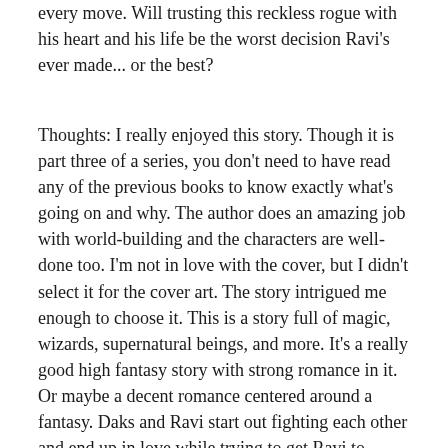every move. Will trusting this reckless rogue with his heart and his life be the worst decision Ravi's ever made... or the best?
Thoughts: I really enjoyed this story. Though it is part three of a series, you don't need to have read any of the previous books to know exactly what's going on and why. The author does an amazing job with world-building and the characters are well-done too. I'm not in love with the cover, but I didn't select it for the cover art. The story intrigued me enough to choose it. This is a story full of magic, wizards, supernatural beings, and more. It's a really good high fantasy story with strong romance in it. Or maybe a decent romance centered around a fantasy. Daks and Ravi start out fighting each other and end up in love while trying to get Ravi to safety. There's also a side romance between Daks' partner Shura and her love interest Fara. So lots of